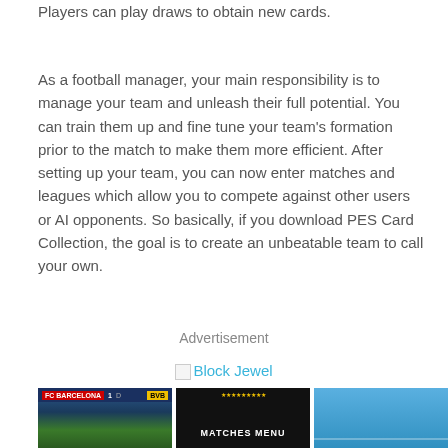Players can play draws to obtain new cards.
As a football manager, your main responsibility is to manage your team and unleash their full potential. You can train them up and fine tune your team’s formation prior to the match to make them more efficient. After setting up your team, you can now enter matches and leagues which allow you to compete against other users or AI opponents. So basically, if you download PES Card Collection, the goal is to create an unbeatable team to call your own.
Advertisement
[Figure (other): Block Jewel advertisement image placeholder with broken image icon and text 'Block Jewel']
[Figure (screenshot): Three screenshots from PES Card Collection game: first shows FC Barcelona match screen with score, second shows dark Matches Menu screen with stars rating, third shows a blue stadium/pitch view]